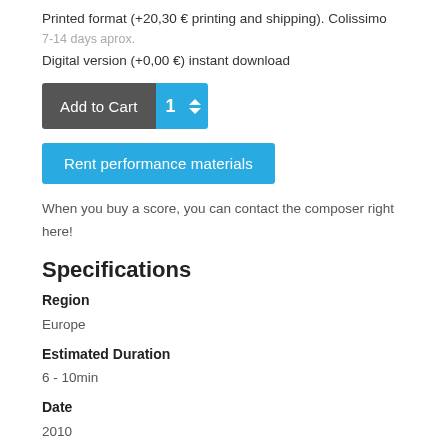Printed format (+20,30 € printing and shipping). Colissimo
7-14 days aprox.
Digital version (+0,00 €) instant download
[Figure (screenshot): Add to Cart button with quantity spinner showing 1, dark gray button with cyan quantity selector]
[Figure (screenshot): Rent performance materials cyan button]
When you buy a score, you can contact the composer right here!
Specifications
Region
Europe
Estimated Duration
6 - 10min
Date
2010